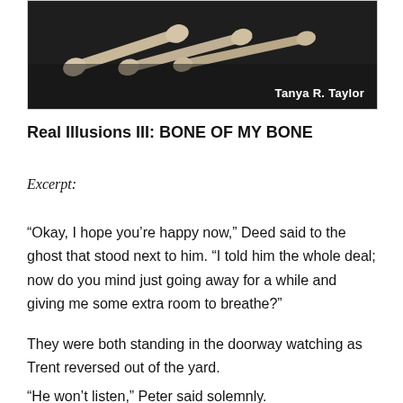[Figure (photo): Black and white book cover image showing bones arranged on a dark background, with author name 'Tanya R. Taylor' in white text at bottom right]
Real Illusions III: BONE OF MY BONE
Excerpt:
“Okay, I hope you’re happy now,” Deed said to the ghost that stood next to him. “I told him the whole deal; now do you mind just going away for a while and giving me some extra room to breathe?”
They were both standing in the doorway watching as Trent reversed out of the yard.
“He won’t listen,” Peter said solemnly.